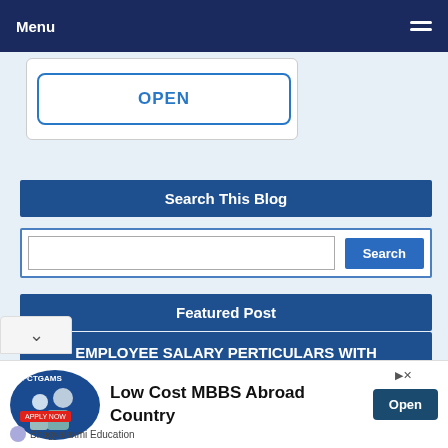Menu
OPEN
Search This Blog
Search
Featured Post
EMPLOYEE SALARY PERTICULARS WITH CFMS/TREASURY ID
[Figure (screenshot): Advertisement for Low Cost MBBS Abroad Country by Bhagyalaxmi Education with Open button]